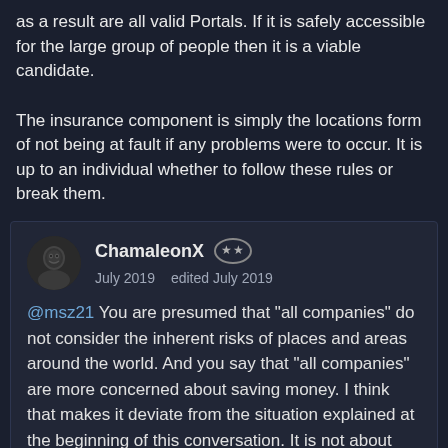as a result are all valid Portals. If it is safely accessible for the large group of people then it is a viable candidate.

The insurance component is simply the locations form of not being at fault if any problems were to occur. It is up to an individual whether to follow these rules or break them.
ChamaleonX ★★ July 2019   edited July 2019
@msz21 You are presumed that "all companies" do not consider the inherent risks of places and areas around the world. And you say that "all companies" are more concerned about saving money. I think that makes it deviate from the situation explained at the beginning of this conversation. It is not about evaluating what intentions have the companies, but to evaluate the level of risk of a physical place through the argument of life insurance.
You talk about sites that demand insurance and that can be visited by many people. But that is somewhat contradictory, since sites that require life insurance and accidents tend to be